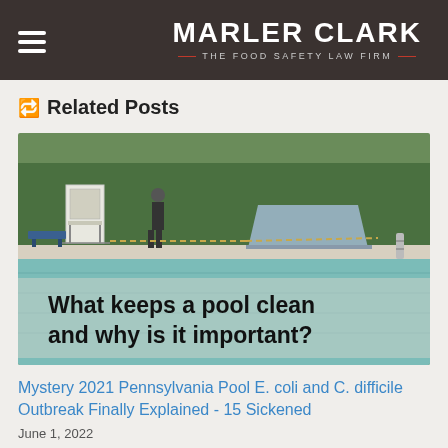MARLER CLARK — THE FOOD SAFETY LAW FIRM
Related Posts
[Figure (photo): Outdoor public swimming pool with a lifeguard stand and a figure standing near the pool edge. Overlaid bold text reads: 'What keeps a pool clean and why is it important?']
Mystery 2021 Pennsylvania Pool E. coli and C. difficile Outbreak Finally Explained - 15 Sickened
June 1, 2022